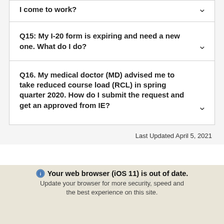I come to work?
Q15: My I-20 form is expiring and need a new one. What do I do?
Q16. My medical doctor (MD) advised me to take reduced course load (RCL) in spring quarter 2020. How do I submit the request and get an approved from IE?
Last Updated April 5, 2021
Accessibility   Emergency alerts   Privacy notice   Public disclosure   Website info   We are an equal opportunity institution
Your web browser (iOS 11) is out of date.
Update your browser for more security, speed and the best experience on this site.